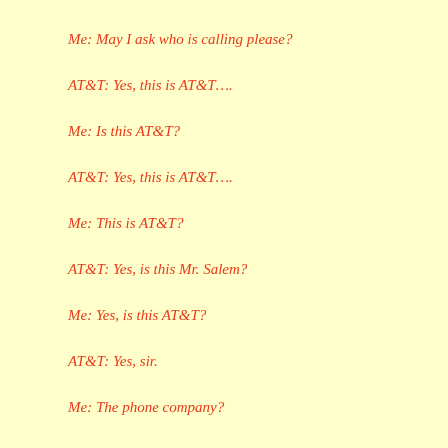Me: May I ask who is calling please?
AT&T: Yes, this is AT&T….
Me: Is this AT&T?
AT&T: Yes, this is AT&T….
Me: This is AT&T?
AT&T: Yes, is this Mr. Salem?
Me: Yes, is this AT&T?
AT&T: Yes, sir.
Me: The phone company?
AT&T: Yes, sir.
Me: I thought you said this was AT&T.
AT&T: Yes, sir, we are a phone company.